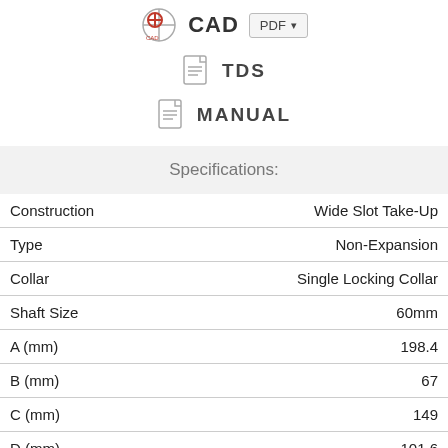[Figure (screenshot): CAD icon with crosshair symbol in red/grey, followed by 'CAD' label and a PDF dropdown button]
[Figure (screenshot): Document icon with lines, followed by 'TDS' label]
[Figure (screenshot): Document icon with lines, followed by 'MANUAL' label]
Specifications:
| Property | Value |
| --- | --- |
| Construction | Wide Slot Take-Up |
| Type | Non-Expansion |
| Collar | Single Locking Collar |
| Shaft Size | 60mm |
| A (mm) | 198.4 |
| B (mm) | 67 |
| C (mm) | 149 |
| D (mm) | 101.6 |
| E (mm) | 127 |